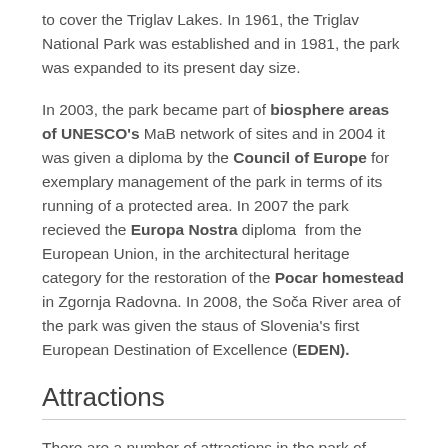to cover the Triglav Lakes. In 1961, the Triglav National Park was established and in 1981, the park was expanded to its present day size.
In 2003, the park became part of biosphere areas of UNESCO's MaB network of sites and in 2004 it was given a diploma by the Council of Europe for exemplary management of the park in terms of its running of a protected area. In 2007 the park recieved the Europa Nostra diploma from the European Union, in the architectural heritage category for the restoration of the Pocar homestead in Zgornja Radovna. In 2008, the Soča River area of the park was given the staus of Slovenia's first European Destination of Excellence (EDEN).
Attractions
There are a number of attractions in the park of which the ones below, are some of the most popular